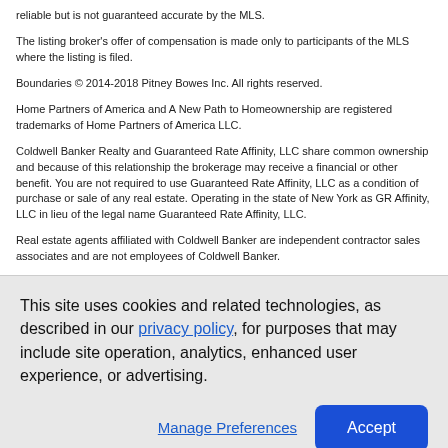reliable but is not guaranteed accurate by the MLS.
The listing broker's offer of compensation is made only to participants of the MLS where the listing is filed.
Boundaries © 2014-2018 Pitney Bowes Inc. All rights reserved.
Home Partners of America and A New Path to Homeownership are registered trademarks of Home Partners of America LLC.
Coldwell Banker Realty and Guaranteed Rate Affinity, LLC share common ownership and because of this relationship the brokerage may receive a financial or other benefit. You are not required to use Guaranteed Rate Affinity, LLC as a condition of purchase or sale of any real estate. Operating in the state of New York as GR Affinity, LLC in lieu of the legal name Guaranteed Rate Affinity, LLC.
Real estate agents affiliated with Coldwell Banker are independent contractor sales associates and are not employees of Coldwell Banker.
This site uses cookies and related technologies, as described in our privacy policy, for purposes that may include site operation, analytics, enhanced user experience, or advertising.